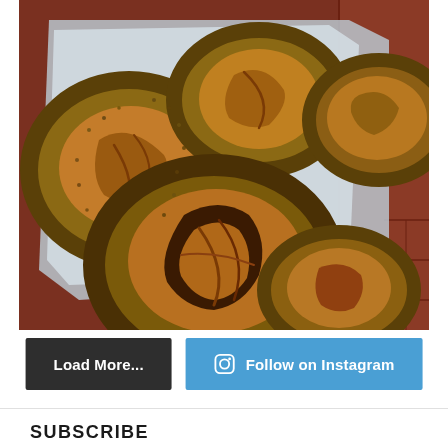[Figure (photo): Overhead photo of multiple dark-crusted sourdough bread loaves coated in sesame or similar seeds on a metal baking peel/tray with parchment paper, on a red brick tile floor]
Load More...
Follow on Instagram
SUBSCRIBE